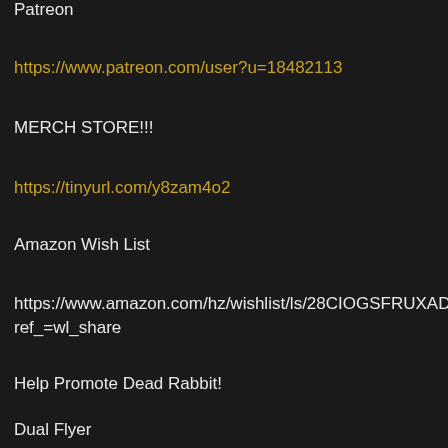Patreon
https://www.patreon.com/user?u=18482113
MERCH STORE!!!
https://tinyurl.com/y8zam4o2
Amazon Wish List
https://www.amazon.com/hz/wishlist/ls/28CIOGSFRUXAD?ref_=wl_share
Help Promote Dead Rabbit!
Dual Flyer